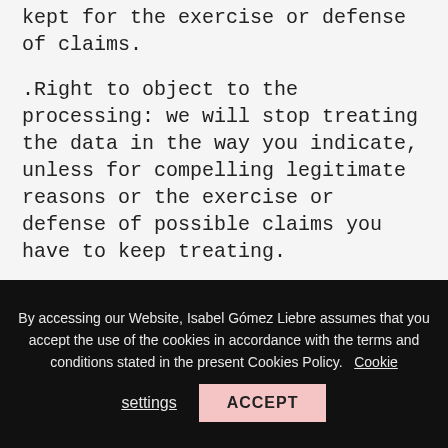kept for the exercise or defense of claims.
.Right to object to the processing: we will stop treating the data in the way you indicate, unless for compelling legitimate reasons or the exercise or defense of possible claims you have to keep treating.
.Right  to the portability of the data: in case you want your data to be treated by another firm, we will facilitate the portability of your data to the new person in charge.
By accessing our Website, Isabel Gómez Liebre assumes that you accept the use of the cookies in accordance with the terms and conditions stated in the present Cookies Policy. Cookie settings ACCEPT